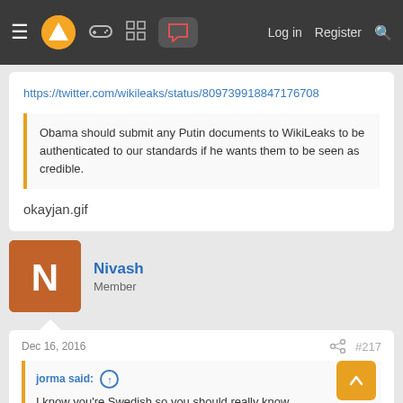≡ [Logo] [gamepad] [grid] [chat] Log in Register [search]
https://twitter.com/wikileaks/status/809739918847176708
Obama should submit any Putin documents to WikiLeaks to be authenticated to our standards if he wants them to be seen as credible.
okayjan.gif
Nivash
Member
Dec 16, 2016
#217
jorma said: ↑
I know you're Swedish so you should really know better. No, those extraditions were not legal. Yet they happened. The PM even admitted the only reason they did it was because of massive